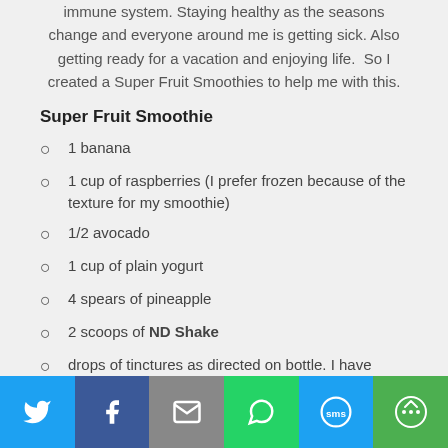immune system. Staying healthy as the seasons change and everyone around me is getting sick. Also getting ready for a vacation and enjoying life.  So I created a Super Fruit Smoothies to help me with this.
Super Fruit Smoothie
1 banana
1 cup of raspberries (I prefer frozen because of the texture for my smoothie)
1/2 avocado
1 cup of plain yogurt
4 spears of pineapple
2 scoops of ND Shake
drops of tinctures as directed on bottle. I have
Twitter | Facebook | Email | WhatsApp | SMS | More